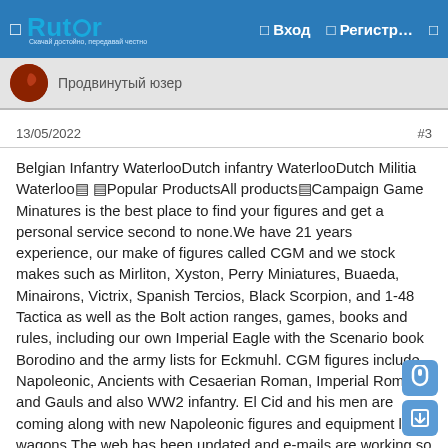Rutor – Вход – Регистр…
Продвинутый юзер
13/05/2022	#3
Belgian Infantry WaterlooDutch infantry WaterlooDutch Militia Waterloo⬛ ⬛Popular ProductsAll products⬛Campaign Game Minatures is the best place to find your figures and get a personal service second to none.We have 21 years experience, our make of figures called CGM and we stock makes such as Mirliton, Xyston, Perry Miniatures, Buaeda, Minairons, Victrix, Spanish Tercios, Black Scorpion, and 1-48 Tactica as well as the Bolt action ranges, games, books and rules, including our own Imperial Eagle with the Scenario book Borodino and the army lists for Eckmuhl. CGM figures include Napoleonic, Ancients with Cesaerian Roman, Imperial Roman and Gauls and also WW2 infantry. El Cid and his men are coming along with new Napoleonic figures and equipment like wagons.The web has been updated and e-mails are working so you can contact us and place orders. You get an invoice and a message when you